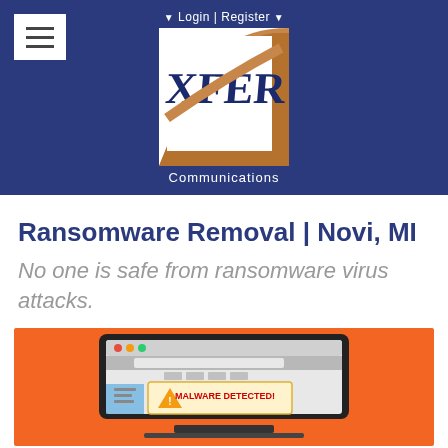Login | Register
[Figure (logo): XFER Communications logo — white box with XFER text in dark blue/navy and a brown swooping road/arc graphic, with 'Communications' text below in white]
Ransomware Removal | Novi, MI
No one is safe from ransomware virus attacks.
[Figure (illustration): Illustration on orange background showing a laptop/monitor with a browser window displaying a 'MALWARE DETECTED!' warning with a triangle warning icon]